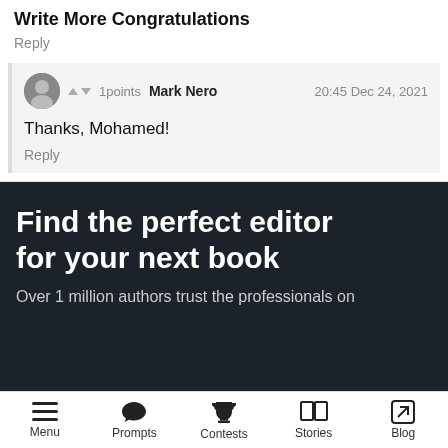Write More Congratulations
Reply
1points  Mark Nero  20:45 Dec 24, 2021
Thanks, Mohamed!
Reply
Find the perfect editor for your next book
Over 1 million authors trust the professionals on
Menu  Prompts  Contests  Stories  Blog